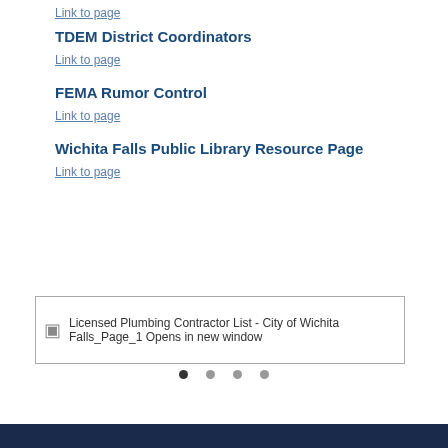Link to page
TDEM District Coordinators
Link to page
FEMA Rumor Control
Link to page
Wichita Falls Public Library Resource Page
Link to page
[Figure (screenshot): Image placeholder showing 'Licensed Plumbing Contractor List - City of Wichita Falls_Page_1 Opens in new window' with broken image icon]